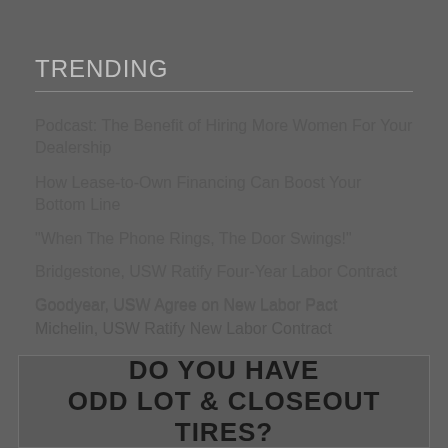TRENDING
Podcast: The Benefit of Hiring More Women For Your Dealership
How Lease-to-Own Financing Can Boost Your Bottom Line
"When The Phone Rings, The Door Swings!"
Bridgestone, USW Ratify Four-Year Labor Contract
Goodyear, USW Agree on New Labor Pact
Michelin, USW Ratify New Labor Contract
[Figure (infographic): Advertisement box with bold black text reading 'DO YOU HAVE ODD LOT & CLOSEOUT TIRES?' on a dark grey background]